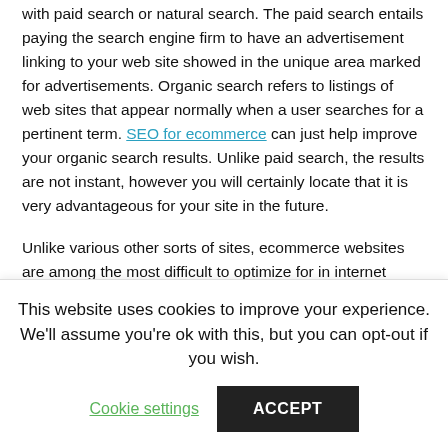with paid search or natural search. The paid search entails paying the search engine firm to have an advertisement linking to your web site showed in the unique area marked for advertisements. Organic search refers to listings of web sites that appear normally when a user searches for a pertinent term. SEO for ecommerce can just help improve your organic search results. Unlike paid search, the results are not instant, however you will certainly locate that it is very advantageous for your site in the future.
Unlike various other sorts of sites, ecommerce websites are among the most difficult to optimize for in internet search engine. This is caused by an ineffective amount of distinct material. Online search engine love sites with a lot of web content that is initial and comprehensive. Shopping websites are simply the opposite of that, they are made up mostly of item images and provide very little in terms of in-depth summaries. For on the internet buyers, a picture is worth a
This website uses cookies to improve your experience. We'll assume you're ok with this, but you can opt-out if you wish.
Cookie settings  ACCEPT